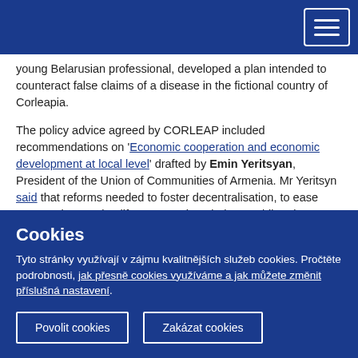young Belarusian professional, developed a plan intended to counteract false claims of a disease in the fictional country of Corleapia.
The policy advice agreed by CORLEAP included recommendations on 'Economic cooperation and economic development at local level' drafted by Emin Yeritsyan, President of the Union of Communities of Armenia. Mr Yeritsyn said that reforms needed to foster decentralisation, to ease cooperation, to simplify paperwork, to bolster public-private partnerships, involve civil society, to encourage participatory budgeting, and to improve respect for the European Charter of
Cookies
Tyto stránky využívají v zájmu kvalitnějších služeb cookies. Pročtěte podrobnosti, jak přesně cookies využíváme a jak můžete změnit příslušná nastavení.